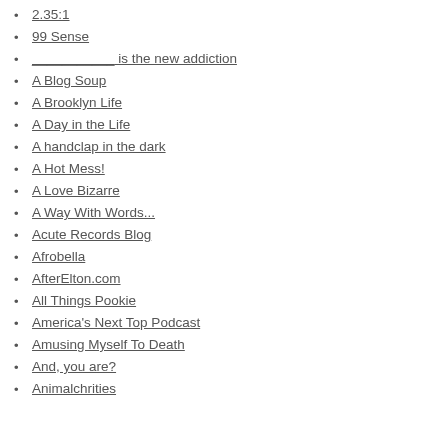2.35:1
99 Sense
___________ is the new addiction
A Blog Soup
A Brooklyn Life
A Day in the Life
A handclap in the dark
A Hot Mess!
A Love Bizarre
A Way With Words...
Acute Records Blog
Afrobella
AfterElton.com
All Things Pookie
America's Next Top Podcast
Amusing Myself To Death
And, you are?
Animalchrities